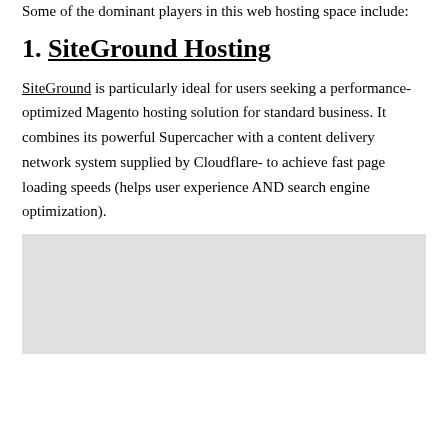Some of the dominant players in this web hosting space include:
1. SiteGround Hosting
SiteGround is particularly ideal for users seeking a performance-optimized Magento hosting solution for standard business. It combines its powerful Supercacher with a content delivery network system supplied by Cloudflare- to achieve fast page loading speeds (helps user experience AND search engine optimization).
[Figure (other): Light gray placeholder image/advertisement block at the bottom of the page]